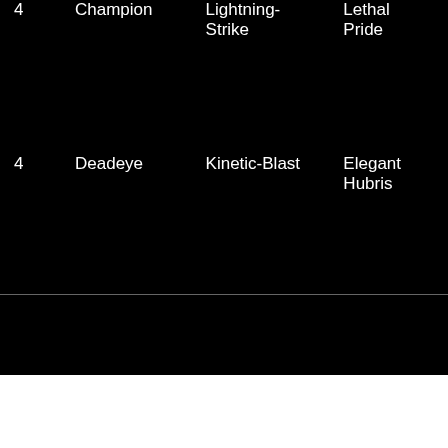|  |  |  |  |
| --- | --- | --- | --- |
| 4 | Champion | Lightning-Strike | Lethal Pride |
| 4 | Deadeye | Kinetic-Blast | Elegant Hubris |